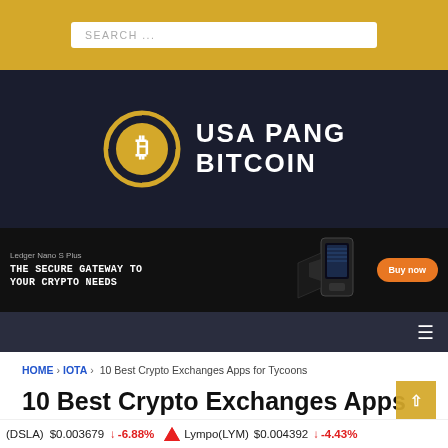SEARCH ...
[Figure (logo): USA Pang Bitcoin logo with golden Bitcoin circle icon and white bold text 'USA PANG BITCOIN' on dark navy background]
[Figure (infographic): Ledger Nano S Plus advertisement banner: 'THE SECURE GATEWAY TO YOUR CRYPTO NEEDS' with Buy now button and device image on black background]
≡
HOME > IOTA > 10 Best Crypto Exchanges Apps for Tycoons
10 Best Crypto Exchanges Apps
(DSLA) $0.003679 ↓ -6.88%   Lympo(LYM) $0.004392 ↓ -4.43%